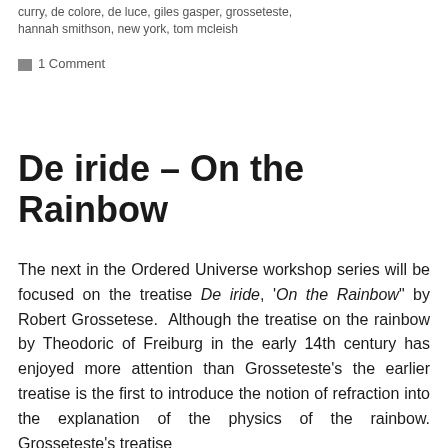curry, de colore, de luce, giles gasper, grosseteste, hannah smithson, new york, tom mcleish
1 Comment
De iride – On the Rainbow
The next in the Ordered Universe workshop series will be focused on the treatise De iride, 'On the Rainbow" by Robert Grossetese.  Although the treatise on the rainbow by Theodoric of Freiburg in the early 14th century has enjoyed more attention than Grosseteste's the earlier treatise is the first to introduce the notion of refraction into the explanation of the physics of the rainbow. Grosseteste's treatise